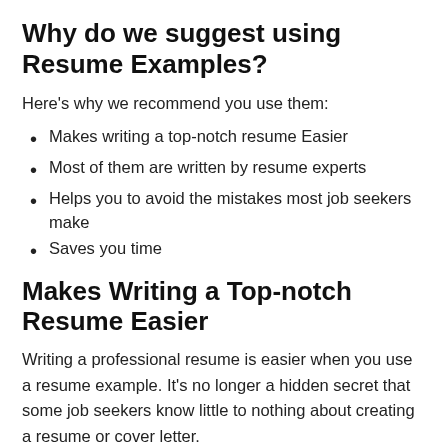Why do we suggest using Resume Examples?
Here's why we recommend you use them:
Makes writing a top-notch resume Easier
Most of them are written by resume experts
Helps you to avoid the mistakes most job seekers make
Saves you time
Makes Writing a Top-notch Resume Easier
Writing a professional resume is easier when you use a resume example. It's no longer a hidden secret that some job seekers know little to nothing about creating a resume or cover letter.